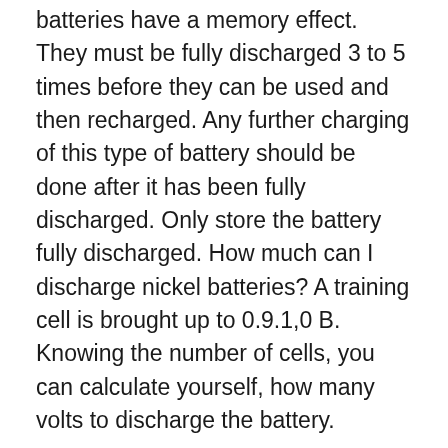batteries have a memory effect. They must be fully discharged 3 to 5 times before they can be used and then recharged. Any further charging of this type of battery should be done after it has been fully discharged. Only store the battery fully discharged. How much can I discharge nickel batteries? A training cell is brought up to 0.9.1,0 B. Knowing the number of cells, you can calculate yourself, how many volts to discharge the battery.
People often ask if a new lithium-ion battery should be discharged. There is no memory effect in this type of galvanic cell. The device operates stably at moderate levels of charge.